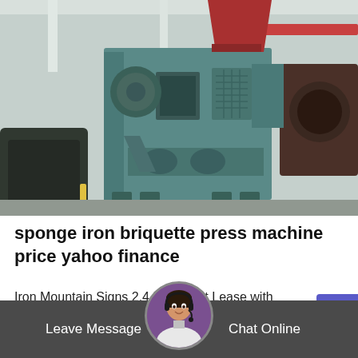[Figure (photo): Industrial sponge iron briquette press machine (teal/green colored heavy machinery) photographed in a factory setting with other equipment visible in the background.]
sponge iron briquette press machine price yahoo finance
Iron Mountain Signs 2.4 Megawatt Lease with Fortune 100 Technology Customer in Western Pennsylvania
Leave Message   Chat Online